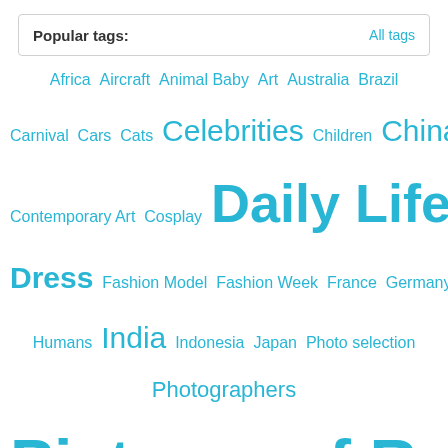Popular tags:   All tags
[Figure (infographic): Tag cloud with popular tags displayed in varying font sizes in cyan/blue color. Tags include Africa, Aircraft, Animal Baby, Art, Australia, Brazil, Carnival, Cars, Cats, Celebrities, Children, China, Contemporary Art, Cosplay, Daily Life, Dogs, Dress, Fashion Model, Fashion Week, France, Germany, Humans, India, Indonesia, Japan, Photo selection, Photographers, Pictures of Recent Events, Pictures of the Year, Protests, Russia, Simply some photos, South Korea, Spain, Thailand, UK, USA, Ukraine, Vintage Photos, Zoo, animals, birds, drawing, models, nature, painting, sport, travel, underwater, war]